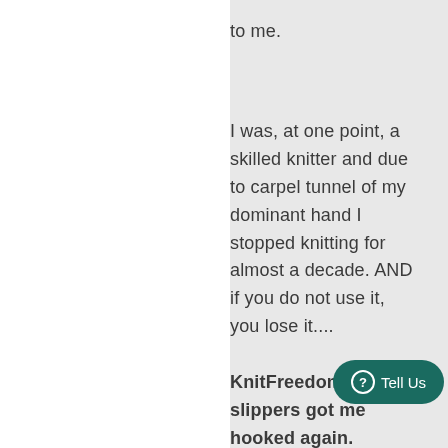to me.
I was, at one point, a skilled knitter and due to carpel tunnel of my dominant hand I stopped knitting for almost a decade. AND if you do not use it, you lose it....
KnitFreedom and the slippers got me hooked again.
PLUS Liat's